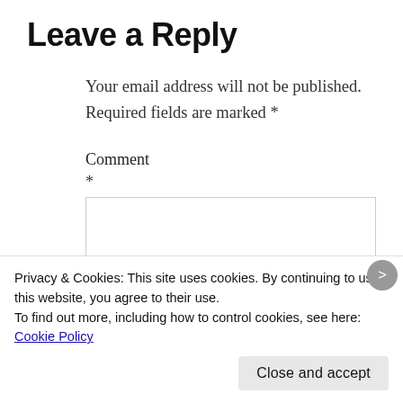Leave a Reply
Your email address will not be published. Required fields are marked *
Comment
*
Privacy & Cookies: This site uses cookies. By continuing to use this website, you agree to their use.
To find out more, including how to control cookies, see here: Cookie Policy
Close and accept